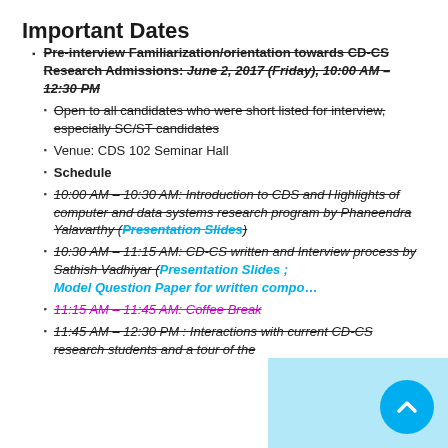Important Dates
Pre-interview Familiarization/orientation towards CD-CS Research Admissions: June 2, 2017 (Friday), 10:00 AM – 12:30 PM [strikethrough]
Open to all candidates who were short listed for interview, especially SC/ST candidates [strikethrough]
Venue: CDS 102 Seminar Hall
Schedule [bold]
10:00 AM – 10:30 AM: Introduction to CDS and Highlights of computer and data systems research program by Phaneendra Yalavarthy (Presentation Slides) [strikethrough, Presentation Slides in cyan]
10:30 AM – 11:15 AM: CD-CS written and Interview process by Sathish Vadhiyar (Presentation Slides ; Model Question Paper for written compo... [strikethrough, links in cyan/magenta]
11:15 AM – 11:45 AM: Coffee Break [strikethrough, magenta]
11:45 AM – 12:30 PM : Interactions with current CD-CS research students and a tour of the [strikethrough]